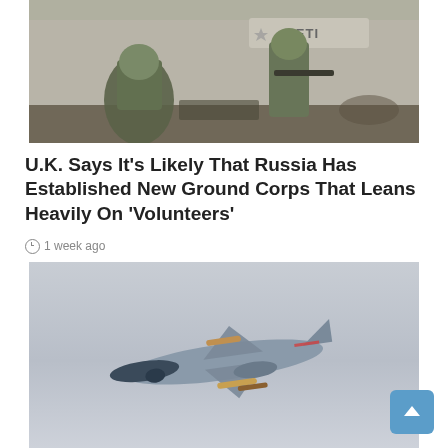[Figure (photo): Soldiers in camouflage gear in a damaged urban environment, with a sign reading METI (partially visible) in the background]
U.K. Says It’s Likely That Russia Has Established New Ground Corps That Leans Heavily On ‘Volunteers’
1 week ago
[Figure (photo): A military fighter jet aircraft in flight against a gray sky, carrying missiles or weapons under its wings]
China ends military drills while re-asserting right to reclaim